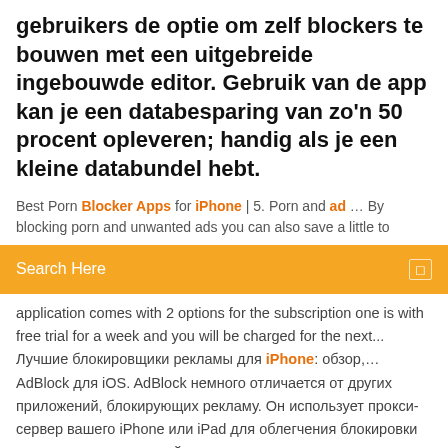gebruikers de optie om zelf blockers te bouwen met een uitgebreide ingebouwde editor. Gebruik van de app kan je een databesparing van zo'n 50 procent opleveren; handig als je een kleine databundel hebt.
Best Porn Blocker Apps for iPhone | 5. Porn and ad … By blocking porn and unwanted ads you can also save a little to
Search Here
application comes with 2 options for the subscription one is with free trial for a week and you will be charged for the next... Лучшие блокировщики рекламы для iPhone: обзор,… AdBlock для iOS. AdBlock немного отличается от других приложений, блокирующих рекламу. Он использует прокси-сервер вашего iPhone или iPad для облегчения блокировки рекламы на всем устройстве, включая приложения, другие веб-браузеры и игры. How to Block Ads in Chrome for iOS | Freedom from Ads